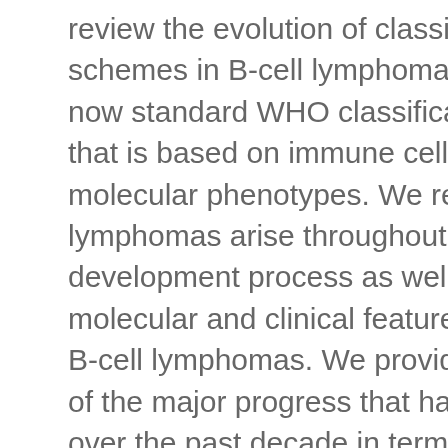review the evolution of classification schemes in B-cell lymphoma, noting the now standard WHO classification system that is based on immune cell-of-origin and molecular phenotypes. We review how lymphomas arise throughout the B-cell development process as well as the molecular and clinical features of prominent B-cell lymphomas. We provide an overview of the major progress that has occurred over the past decade in terms of our molecular understanding of these diseases. We discuss treatment options available and focus on a number of the diverse research tools that have been employed to improve our understanding of these diseases. We discuss the problem of heterogeneity in lymphomas and anticipate that the near future will